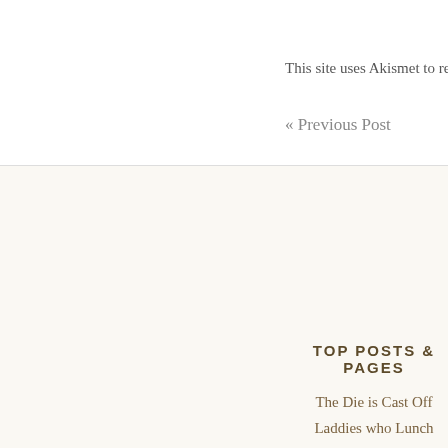This site uses Akismet to reduce spam. Learn how your co
« Previous Post
TOP POSTS & PAGES
The Die is Cast Off
Laddies who Lunch
Rite
Widdershins
Veronica Lake
Portrait of a Maybe
Clemency
Eyewashersock
Trial by Ordeal
Hide & Seek
TAGS